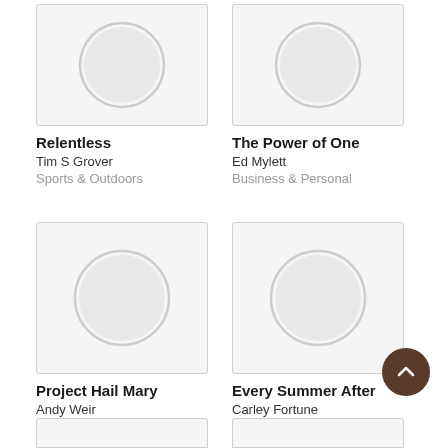[Figure (illustration): Book cover placeholder for Relentless — grey card with circle]
Relentless
Tim S Grover
Sports & Outdoors
[Figure (illustration): Book cover placeholder for The Power of One — grey card with circle]
The Power of One
Ed Mylett
Business & Personal
[Figure (illustration): Book cover placeholder for Project Hail Mary — grey card with circle]
Project Hail Mary
Andy Weir
Sci-Fi & Fantasy
[Figure (illustration): Book cover placeholder for Every Summer After — grey card with circle]
Every Summer After
Carley Fortune
Fiction